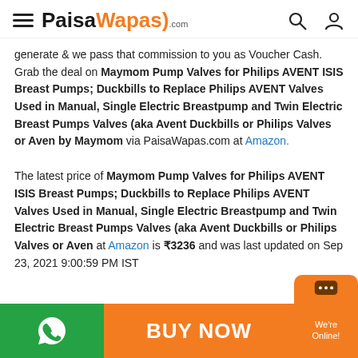PaisaWapas.com
generate & we pass that commission to you as Voucher Cash. Grab the deal on Maymom Pump Valves for Philips AVENT ISIS Breast Pumps; Duckbills to Replace Philips AVENT Valves Used in Manual, Single Electric Breastpump and Twin Electric Breast Pumps Valves (aka Avent Duckbills or Philips Valves or Aven by Maymom via PaisaWapas.com at Amazon.
The latest price of Maymom Pump Valves for Philips AVENT ISIS Breast Pumps; Duckbills to Replace Philips AVENT Valves Used in Manual, Single Electric Breastpump and Twin Electric Breast Pumps Valves (aka Avent Duckbills or Philips Valves or Aven at Amazon is ₹3236 and was last updated on Sep 23, 2021 9:00:59 PM IST
BUY NOW | We're Online!